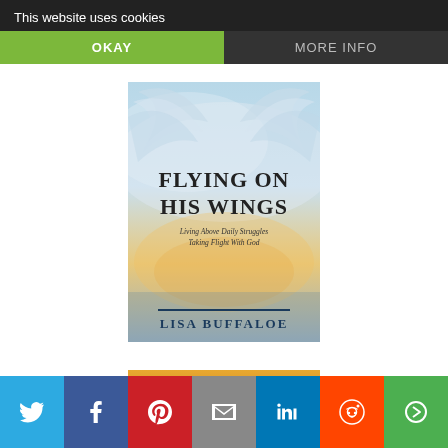This website uses cookies
OKAY
MORE INFO
[Figure (illustration): Book cover for 'Flying On His Wings' by Lisa Buffaloe. Shows angel wings at top with sky/cloud background. Title text: FLYING ON HIS WINGS. Subtitle: Living Above Daily Struggles Taking Flight With God. Author: LISA BUFFALOE.]
[Figure (illustration): Partial view of another book by Lisa Buffaloe with warm orange background, showing 'LISA' text at top.]
Twitter share button
Facebook share button
Pinterest share button
Email share button
LinkedIn share button
Reddit share button
More share options button